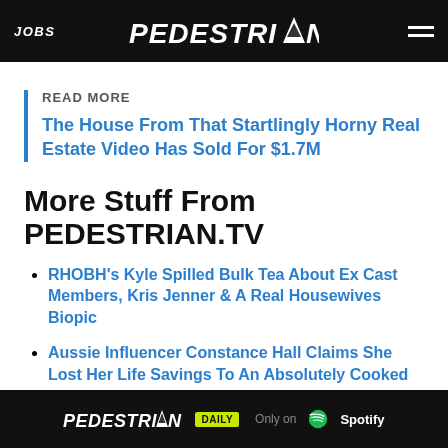JOBS | PEDESTRIAN | [hamburger menu]
READ MORE
The House From That Startlingly Horny Real Estate Video Has Sold For $1.7M
More Stuff From PEDESTRIAN.TV
RHOBH's Kyle Spilled Bulk Tea About Ex Cast Members, Kris Jenner & A Real Housewives Biopic
Aussie Influencer Constance Hall Claims She Lost Her Life Savings To An Absolutely Cooked Scam
T... Your
[Figure (other): Pedestrian Daily advertisement banner — 'PEDESTRIAN DAILY Only on Spotify' in dark background]